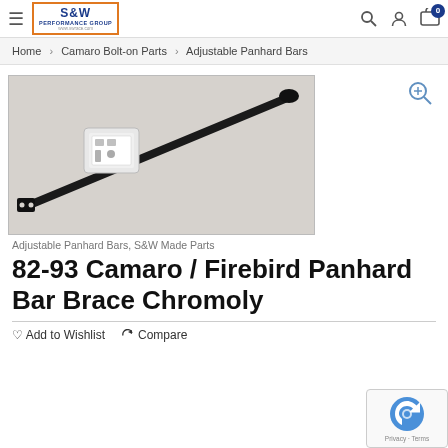S&W Performance Group logo, search, user, cart icons
Home > Camaro Bolt-on Parts > Adjustable Panhard Bars
[Figure (photo): Photo of a black chromoly panhard bar brace laid diagonally on a light gray surface, with a small bag of hardware parts beside it.]
Adjustable Panhard Bars, S&W Made Parts
82-93 Camaro / Firebird Panhard Bar Brace Chromoly
Add to Wishlist  Compare